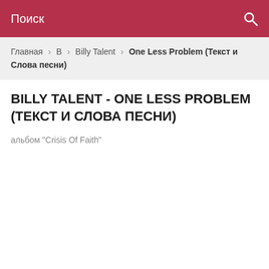Поиск
Главная > В > Billy Talent > One Less Problem (Текст и Слова песни)
BILLY TALENT - ONE LESS PROBLEM (ТЕКСТ И СЛОВА ПЕСНИ)
альбом "Crisis Of Faith"